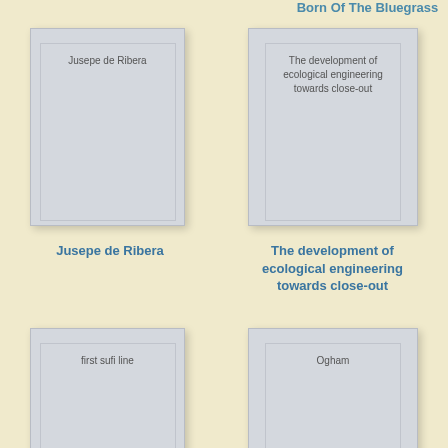Born Of The Bluegrass
[Figure (illustration): Book cover thumbnail for 'Jusepe de Ribera' showing a light grey book cover with title text]
Jusepe de Ribera
[Figure (illustration): Book cover thumbnail for 'The development of ecological engineering towards close-out' showing a light grey book cover with title text]
The development of ecological engineering towards close-out
[Figure (illustration): Book cover thumbnail for 'first sufi line' showing a light grey book cover with title text]
[Figure (illustration): Book cover thumbnail for 'Ogham' showing a light grey book cover with title text]